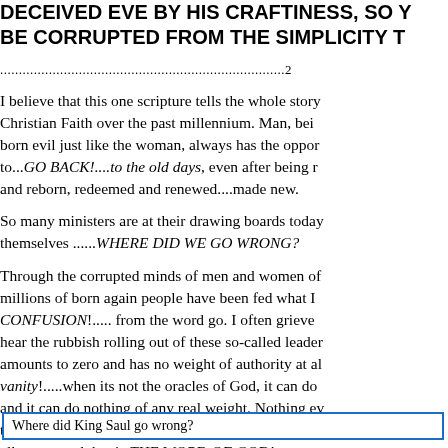DECEIVED EVE BY HIS CRAFTINESS, SO Y BE CORRUPTED FROM THE SIMPLICITY T
...........................................................................2
I believe that this one scripture tells the whole story Christian Faith over the past millennium. Man, bein born evil just like the woman, always has the oppor to...GO BACK!....to the old days, even after being r and reborn, redeemed and renewed....made new.
So many ministers are at their drawing boards today themselves ......WHERE DID WE GO WRONG?
Through the corrupted minds of men and women of millions of born again people have been fed what I CONFUSION!..... from the word go. I often grieve hear the rubbish rolling out of these so-called leader amounts to zero and has no weight of authority at a vanity!.....when its not the oracles of God, it can do and it can do nothing of any real weight. Nothing ev the Alpha and the Omega! There is only one sword, all to rest and that is THE WORD OF GOD! we cor with only part of His counsel.
Where did King Saul go wrong?